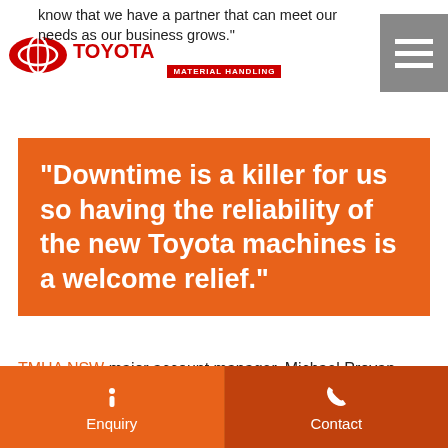know that we have a partner that can meet our needs as our business grows.
"Downtime is a killer for us so having the reliability of the new Toyota machines is a welcome relief."
TMHA NSW major account manager, Michael Provan, said as part of the tender process, he applied one of the cornerstones of the Toyota Advantage: Tailored Business Solutions. "We at TMHA always try to understand our customers' businesses operate, what their needs are and make our recommendations to help increase their
Enquiry | Contact